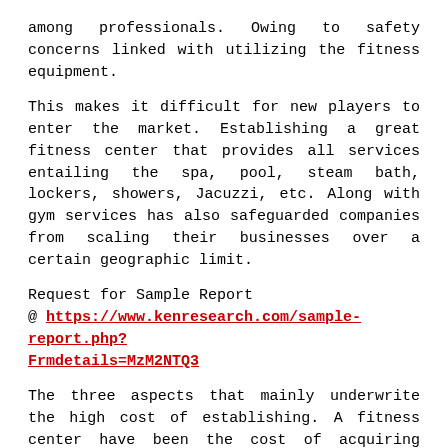among professionals. Owing to safety concerns linked with utilizing the fitness equipment.
This makes it difficult for new players to enter the market. Establishing a great fitness center that provides all services entailing the spa, pool, steam bath, lockers, showers, Jacuzzi, etc. Along with gym services has also safeguarded companies from scaling their businesses over a certain geographic limit.
Request for Sample Report @ https://www.kenresearch.com/sample-report.php?Frmdetails=MzM2NTQ3
The three aspects that mainly underwrite the high cost of establishing. A fitness center have been the cost of acquiring land. The cost of hiring trained and certified fitness professionals, and the cost of purchasing gym equipment.
This has been disheartening for new players with low